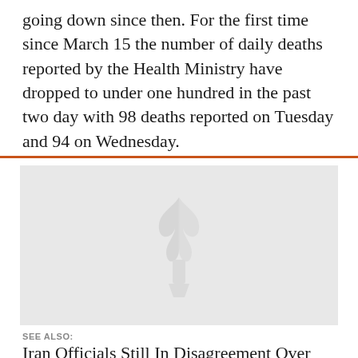going down since then. For the first time since March 15 the number of daily deaths reported by the Health Ministry have dropped to under one hundred in the past two day with 98 deaths reported on Tuesday and 94 on Wednesday.
[Figure (illustration): Placeholder image with a light gray background and a faint watermark logo in the center (torch/plant symbol).]
SEE ALSO:
Iran Officials Still In Disagreement Over